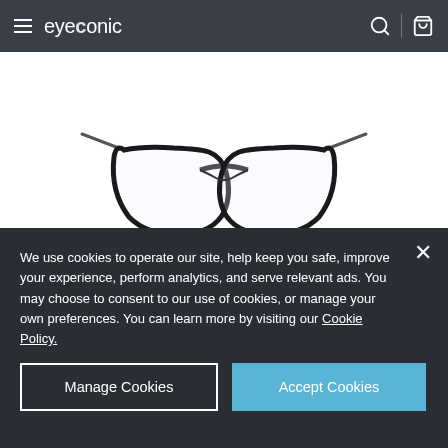eyeconic
[Figure (photo): Black rectangular eyeglasses frame with thin temples, displayed front-facing on a white background. Below the glasses are four color swatches: black (selected with ring), orange/tan, green, and purple.]
We use cookies to operate our site, help keep you safe, improve your experience, perform analytics, and serve relevant ads. You may choose to consent to our use of cookies, or manage your own preferences. You can learn more by visiting our Cookie Policy.